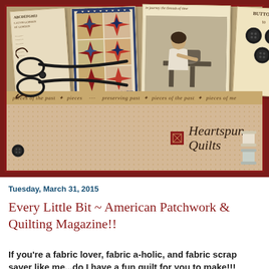[Figure (illustration): Heartspun Quilts blog header banner showing vintage quilt images, old photographs, buttons, scissors, and the Heartspun Quilts logo on a red and cream dotted background]
Tuesday, March 31, 2015
Every Little Bit ~ American Patchwork & Quilting Magazine!!
If you're a fabric lover, fabric a-holic, and fabric scrap saver like me...do I have a fun quilt for you to make!!!
[Figure (screenshot): Better Homes and Gardens Special Interest publication ad strip with green background and red 'Don't Miss' button]